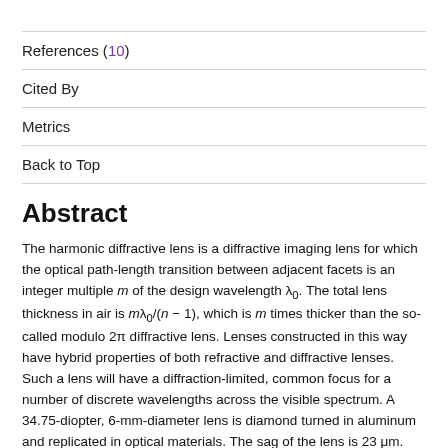References (10)
Cited By
Metrics
Back to Top
Abstract
The harmonic diffractive lens is a diffractive imaging lens for which the optical path-length transition between adjacent facets is an integer multiple m of the design wavelength λ₀. The total lens thickness in air is mλ₀/(n − 1), which is m times thicker than the so-called modulo 2π diffractive lens. Lenses constructed in this way have hybrid properties of both refractive and diffractive lenses. Such a lens will have a diffraction-limited, common focus for a number of discrete wavelengths across the visible spectrum. A 34.75-diopter, 6-mm-diameter lens is diamond turned in aluminum and replicated in optical materials. The sag of the lens is 23 μm.